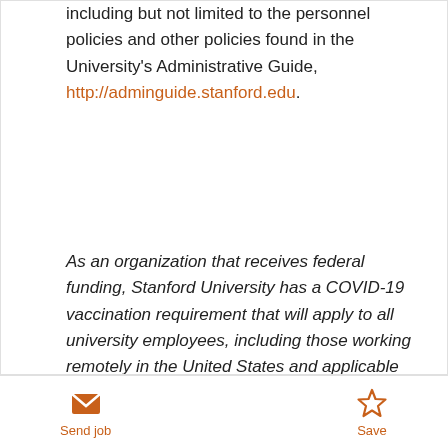including but not limited to the personnel policies and other policies found in the University's Administrative Guide, http://adminguide.stanford.edu.
As an organization that receives federal funding, Stanford University has a COVID-19 vaccination requirement that will apply to all university employees, including those working remotely in the United States and applicable subcontractors. To learn more about COVID policies and guidelines for
Send job  Save